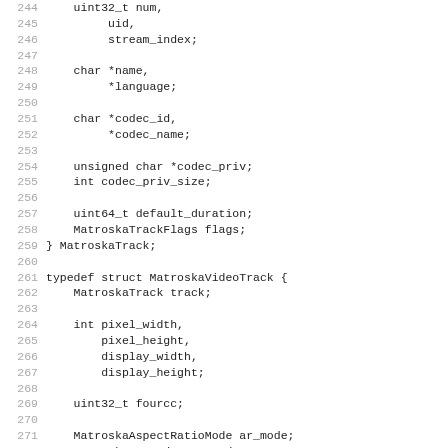Source code listing lines 244-275 showing C struct definitions for MatroskaTrack and MatroskaVideoTrack
244     uint32_t num,
245          uid,
246          stream_index;
247
248     char *name,
249          *language;
250
251     char *codec_id,
252          *codec_name;
253
254     unsigned char *codec_priv;
255     int codec_priv_size;
256
257     uint64_t default_duration;
258     MatroskaTrackFlags flags;
259 } MatroskaTrack;
260
261 typedef struct MatroskaVideoTrack {
262     MatroskaTrack track;
263
264     int pixel_width,
265          pixel_height,
266          display_width,
267          display_height;
268
269     uint32_t fourcc;
270
271     MatroskaAspectRatioMode ar_mode;
272     MatroskaEyeMode eye_mode;
273
274     //..
275 } MatroskaVideoTrack;